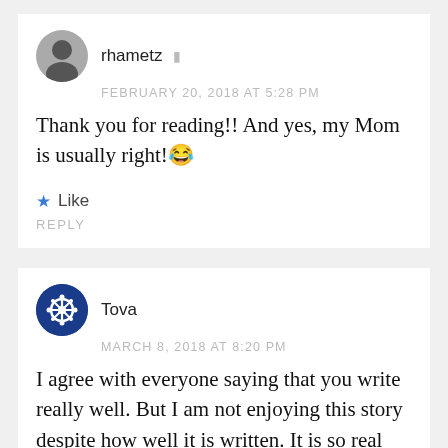rhametz
FEBRUARY 20, 2018 AT 5:28 PM
Thank you for reading!! And yes, my Mom is usually right!😂
★ Like
REPLY
Tova
MARCH 8, 2018 AT 8:20 PM
I agree with everyone saying that you write really well. But I am not enjoying this story despite how well it is written. It is so real that...